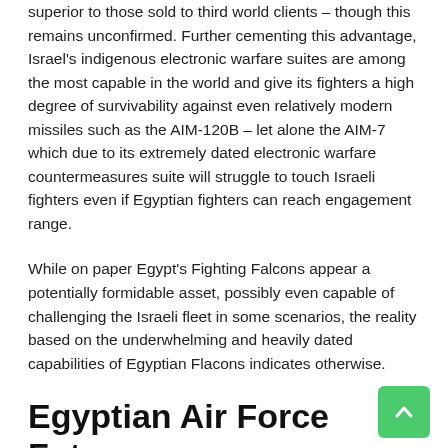superior to those sold to third world clients – though this remains unconfirmed. Further cementing this advantage, Israel's indigenous electronic warfare suites are among the most capable in the world and give its fighters a high degree of survivability against even relatively modern missiles such as the AIM-120B – let alone the AIM-7 which due to its extremely dated electronic warfare countermeasures suite will struggle to touch Israeli fighters even if Egyptian fighters can reach engagement range.
While on paper Egypt's Fighting Falcons appear a potentially formidable asset, possibly even capable of challenging the Israeli fleet in some scenarios, the reality based on the underwhelming and heavily dated capabilities of Egyptian Flacons indicates otherwise.
Egyptian Air Force Future
With Egypt having made a number of new orders for Russian arms from 2013, and Moscow has far fewer qualms about selling the African country state of the art weapons systems than Western manufacturers, the balance of power in the air is set to change considerably in the near future.